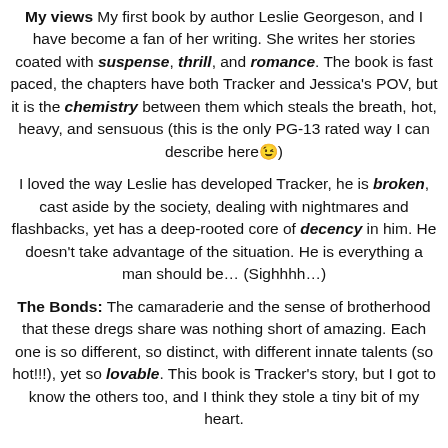My views My first book by author Leslie Georgeson, and I have become a fan of her writing. She writes her stories coated with suspense, thrill, and romance. The book is fast paced, the chapters have both Tracker and Jessica's POV, but it is the chemistry between them which steals the breath, hot, heavy, and sensuous (this is the only PG-13 rated way I can describe here😉)
I loved the way Leslie has developed Tracker, he is broken, cast aside by the society, dealing with nightmares and flashbacks, yet has a deep-rooted core of decency in him. He doesn't take advantage of the situation. He is everything a man should be… (Sighhhh…)
The Bonds: The camaraderie and the sense of brotherhood that these dregs share was nothing short of amazing. Each one is so different, so distinct, with different innate talents (so hot!!!), yet so lovable. This book is Tracker's story, but I got to know the others too, and I think they stole a tiny bit of my heart.